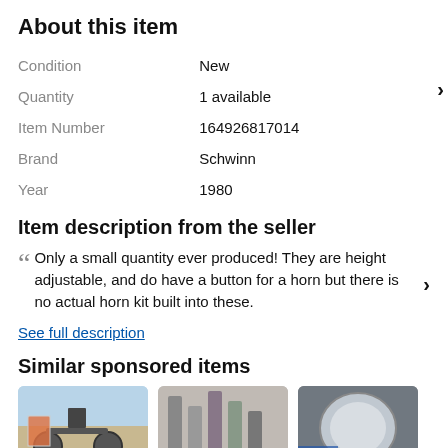About this item
| Field | Value |
| --- | --- |
| Condition | New |
| Quantity | 1 available |
| Item Number | 164926817014 |
| Brand | Schwinn |
| Year | 1980 |
Item description from the seller
Only a small quantity ever produced! They are height adjustable, and do have a button for a horn but there is no actual horn kit built into these.
See full description
Similar sponsored items
[Figure (photo): Three product images for similar sponsored items]